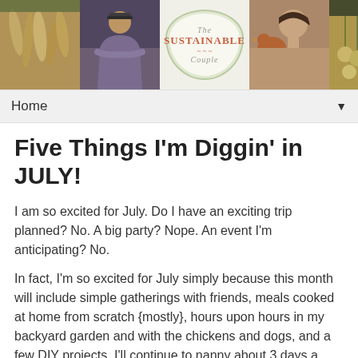[Figure (photo): Blog header banner with collage of 5 panels: parsnips/root vegetables, man in hoodie with arms crossed, 'The Sustainable Couple' logo in decorative frame, woman holding a chicken, bundles of onions/garlic]
Home ▼
Five Things I'm Diggin' in JULY!
I am so excited for July. Do I have an exciting trip planned? No. A big party? Nope. An event I'm anticipating? No.
In fact, I'm so excited for July simply because this month will include simple gatherings with friends, meals cooked at home from scratch {mostly}, hours upon hours in my backyard garden and with the chickens and dogs, and a few DIY projects. I'll continue to nanny about 3 days a week, and will also continue my 2 tutoring jobs. Other than that, I look forward to much R&R, and connecting with you via this little ol' blog.